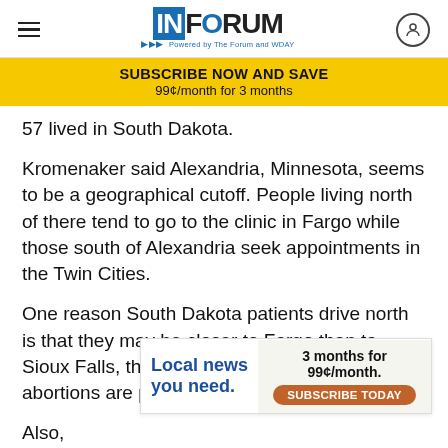INFORUM — Powered by The Forum and WDAY
[Figure (infographic): Subscribe Now and Save banner: SUBSCRIBE NOW AND SAVE / 99¢/month for 3 months]
57 lived in South Dakota.
Kromenaker said Alexandria, Minnesota, seems to be a geographical cutoff. People living north of there tend to go to the clinic in Fargo while those south of Alexandria seek appointments in the Twin Cities.
One reason South Dakota patients drive north is that they may be closer to Fargo than to Sioux Falls, the only city in that state where abortions are performed.
Also,
[Figure (infographic): Advertisement: Local news you need. 3 months for 99¢/month. SUBSCRIBE TODAY (orange button)]